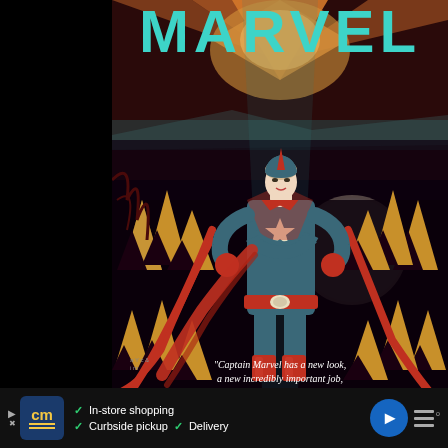[Figure (illustration): Captain Marvel comic book cover illustration. A female superhero in a teal/blue suit with red accents, star emblem on chest, red belt with gold buckle, red gloves and boots. Arms crossed in a powerful pose. Background features orange sun rays, golden/amber mountain peaks or crystals arranged symmetrically, a large pale moon, dark night sky with maroon/dark red tones. Red flowing cape sash. The word MARVEL in large teal letters at the top.]
MARVEL
"Captain Marvel has a new look, a new incredibly important job,
[Figure (infographic): Advertisement bar at the bottom. Shows a logo with 'cm' in yellow on dark blue background, with yellow underline bars. Features checkmarks listing: In-store shopping, Curbside pickup, Delivery. Blue circular navigation arrow icon on right. Menu bars icon on far right with superscript dot.]